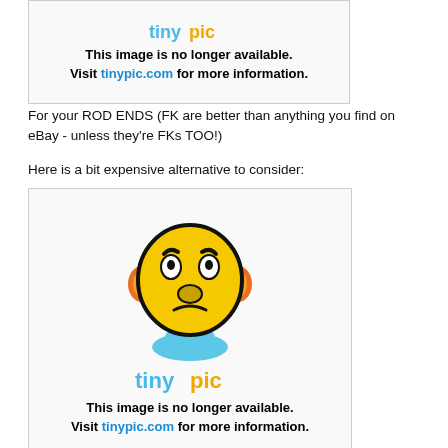[Figure (screenshot): Tinypic placeholder image - 'This image is no longer available. Visit tinypic.com for more information.']
For your ROD ENDS (FK are better than anything you find on eBay - unless they're FKs TOO!)
Here is a bit expensive alternative to consider:
[Figure (screenshot): Tinypic placeholder image with sad face emoji graphic - 'This image is no longer available. Visit tinypic.com for more information.']